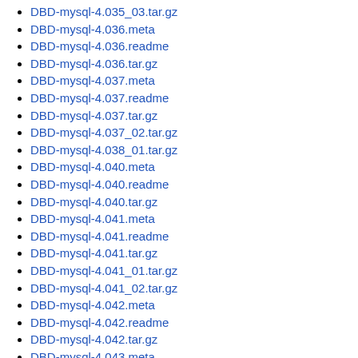DBD-mysql-4.035_03.tar.gz
DBD-mysql-4.036.meta
DBD-mysql-4.036.readme
DBD-mysql-4.036.tar.gz
DBD-mysql-4.037.meta
DBD-mysql-4.037.readme
DBD-mysql-4.037.tar.gz
DBD-mysql-4.037_02.tar.gz
DBD-mysql-4.038_01.tar.gz
DBD-mysql-4.040.meta
DBD-mysql-4.040.readme
DBD-mysql-4.040.tar.gz
DBD-mysql-4.041.meta
DBD-mysql-4.041.readme
DBD-mysql-4.041.tar.gz
DBD-mysql-4.041_01.tar.gz
DBD-mysql-4.041_02.tar.gz
DBD-mysql-4.042.meta
DBD-mysql-4.042.readme
DBD-mysql-4.042.tar.gz
DBD-mysql-4.043.meta
DBD-mysql-4.043.readme
DBD-mysql-4.043.tar.gz
DBD-mysql-4.046_01.tar.gz
DBD-mysql-4.048.meta